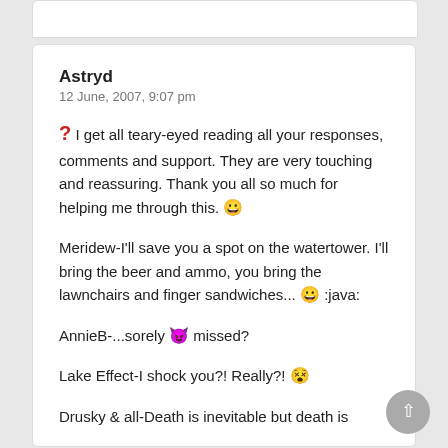Astryd
12 June, 2007, 9:07 pm
❓ I get all teary-eyed reading all your responses, comments and support. They are very touching and reassuring. Thank you all so much for helping me through this. 😀
Meridew-I'll save you a spot on the watertower. I'll bring the beer and ammo, you bring the lawnchairs and finger sandwiches... 😀 :java:
AnnieB-...sorely 😈 missed?
Lake Effect-I shock you?! Really?! 😵
Drusky & all-Death is inevitable but death is